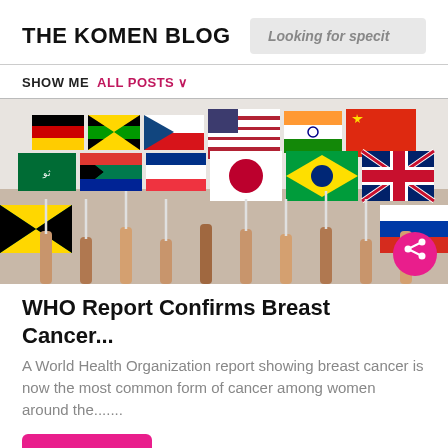THE KOMEN BLOG
Looking for specit
SHOW ME  ALL POSTS ∨
[Figure (photo): Many hands holding flags of various countries including Germany, USA, China, Japan, Brazil, UK, Jamaica, Cuba, South Africa, Saudi Arabia, Spain, India, and others. A pink share button is visible at bottom right.]
WHO Report Confirms Breast Cancer...
A World Health Organization report showing breast cancer is now the most common form of cancer among women around the.......
Read More
[Figure (photo): Partial image at bottom of page, appears to show people in a room with yellow objects visible.]